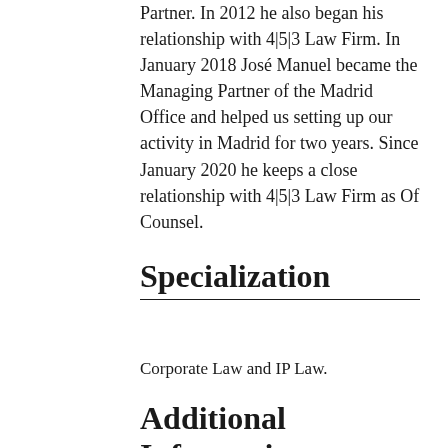Partner. In 2012 he also began his relationship with 4|5|3 Law Firm. In January 2018 José Manuel became the Managing Partner of the Madrid Office and helped us setting up our activity in Madrid for two years. Since January 2020 he keeps a close relationship with 4|5|3 Law Firm as Of Counsel.
Specialization
Corporate Law and IP Law.
Additional Information